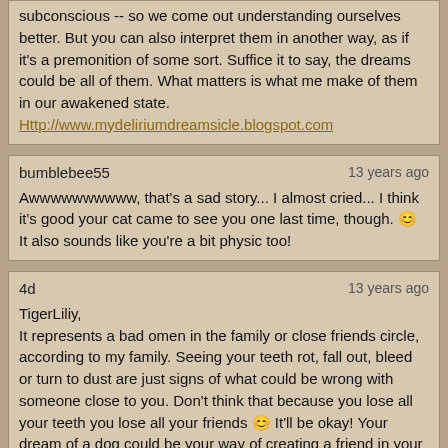subconscious -- so we come out understanding ourselves better. But you can also interpret them in another way, as if it's a premonition of some sort. Suffice it to say, the dreams could be all of them. What matters is what me make of them in our awakened state.
Http://www.mydeliriumdreamsicle.blogspot.com
bumblebee55  13 years ago
Awwwwwwwwww, that's a sad story... I almost cried... I think it's good your cat came to see you one last time, though. 😊 It also sounds like you're a bit physic too!
4d  13 years ago
TigerLiliy,
It represents a bad omen in the family or close friends circle, according to my family. Seeing your teeth rot, fall out, bleed or turn to dust are just signs of what could be wrong with someone close to you. Don't think that because you lose all your teeth you lose all your friends 😊 It'll be okay! Your dream of a dog could be your way of creating a friend in your subconscious. Example: If you dream of a cousin, it could stand for your friend. If you dream of your Mother or Father it